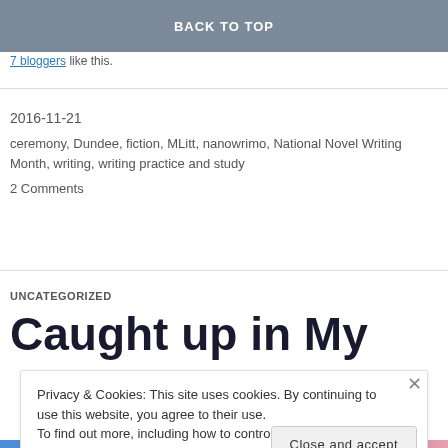BACK TO TOP
7 bloggers like this.
2016-11-21
ceremony, Dundee, fiction, MLitt, nanowrimo, National Novel Writing Month, writing, writing practice and study
2 Comments
UNCATEGORIZED
Caught up in My
Privacy & Cookies: This site uses cookies. By continuing to use this website, you agree to their use. To find out more, including how to control cookies, see here: Cookie Policy
Close and accept